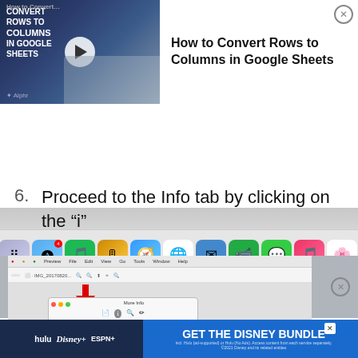[Figure (screenshot): Video thumbnail showing 'How to Convert Rows to Columns in Google Sheets' with play button overlay, and video info panel with title and close button]
[Figure (screenshot): macOS dock bar with various app icons including Finder, Launchpad, App Store, Spotify, Safari, Chrome, Mail, FaceTime, Messages, Music, Photos, Calendar]
6. Proceed to the Info tab by clicking on the "i" icon.
[Figure (screenshot): macOS Preview application screenshot showing More Info dialog with General, Exif, GPS, JFIF, TIFF tabs and red arrow pointing to the Info (i) icon]
[Figure (screenshot): Disney Bundle advertisement banner with Hulu, Disney+, ESPN+ logos and 'GET THE DISNEY BUNDLE' call to action]